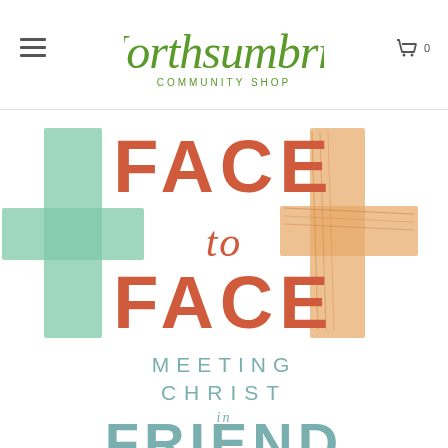[Figure (logo): Northsumbria Community Shop logo in green handwritten script with 'COMMUNITY SHOP' in spaced green capitals below]
[Figure (illustration): Book cover for 'Face to Face: Meeting Christ in Friend' with large terracotta/salmon colored bold text 'FACE to FACE' and 'MEETING CHRIST IN FRIEND' in teal below, with two cross shapes — one teal/mint on the left and one orange sketched on the right, on a white background]